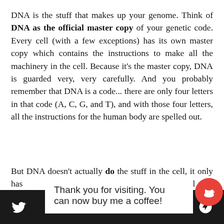DNA is the stuff that makes up your genome. Think of DNA as the official master copy of your genetic code. Every cell (with a few exceptions) has its own master copy which contains the instructions to make all the machinery in the cell. Because it's the master copy, DNA is guarded very, very carefully. And you probably remember that DNA is a code... there are only four letters in that code (A, C, G, and T), and with those four letters, all the instructions for the human body are spelled out.
But DNA doesn't actually do the stuff in the cell, it only has ... es the cell turn thos ... irst
Thank you for visiting. You can now buy me a coffee!
Social share icons: Twitter, Facebook, WhatsApp, Link, Email, Other